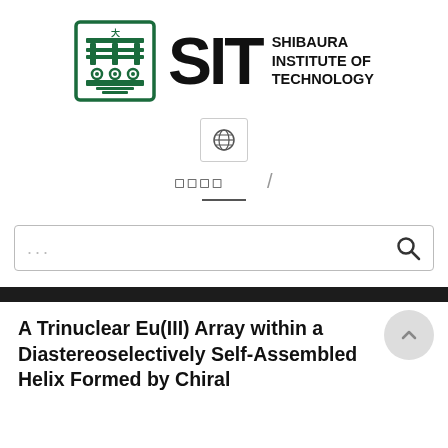[Figure (logo): Shibaura Institute of Technology (SIT) logo: green emblem on left, large bold 'SIT' text in center, 'SHIBAURA INSTITUTE OF TECHNOLOGY' text on right]
[Figure (screenshot): Globe/language icon in a small bordered box, representing language or international toggle]
□□□□ /
[Figure (screenshot): Search bar with placeholder '...' and magnifying glass icon on the right]
A Trinuclear Eu(III) Array within a Diastereoselectively Self-Assembled Helix Formed by Chiral...